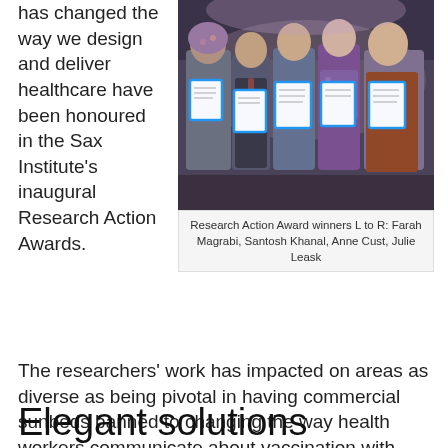has changed the way we design and deliver healthcare have been honoured in the Sax Institute's inaugural Research Action Awards.
[Figure (photo): Group photo of Research Action Award winners holding framed certificates, standing together at an event venue.]
Research Action Award winners L to R: Farah Magrabi, Santosh Khanal, Anne Cust, Julie Leask
The researchers' work has impacted on areas as diverse as being pivotal in having commercial sunbeds banned to changing the way health workers communicate about vaccination with hesitant parents.
The Institute established the annual awards to recognise research that supports policy decisions that make a real-world difference to people's health and wellbeing.
Elegant solutions